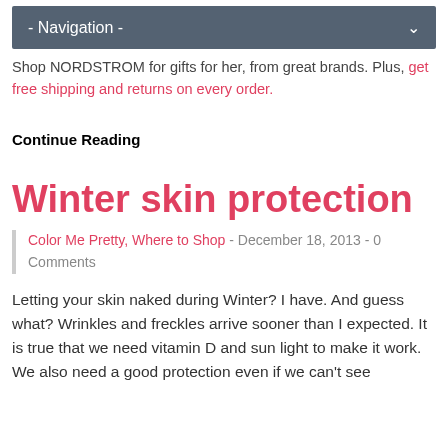- Navigation -
Shop NORDSTROM for gifts for her, from great brands. Plus, get free shipping and returns on every order.
Continue Reading
Winter skin protection
Color Me Pretty, Where to Shop - December 18, 2013 - 0 Comments
Letting your skin naked during Winter? I have. And guess what? Wrinkles and freckles arrive sooner than I expected. It is true that we need vitamin D and sun light to make it work. We also need a good protection even if we can't see